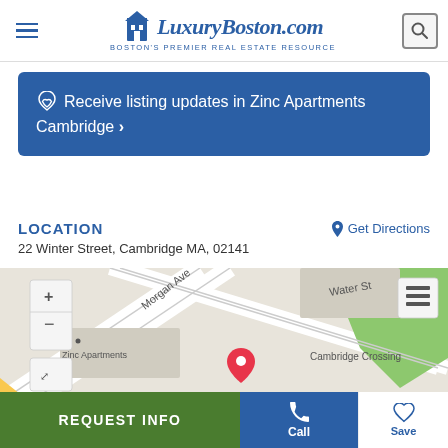LuxuryBoston.com — Boston's Premier Real Estate Resource
♡ Receive listing updates in Zinc Apartments Cambridge ›
LOCATION
22 Winter Street, Cambridge MA, 02141
⦿ Get Directions
[Figure (map): Street map showing location of Zinc Apartments at 22 Winter Street, Cambridge MA. Shows Morgan Ave, Water St, Cambridge Crossing labels. Red location pin in center of map. Map controls show + and - zoom buttons and expand button on left side, layer switcher on right.]
REQUEST INFO | Call | Save